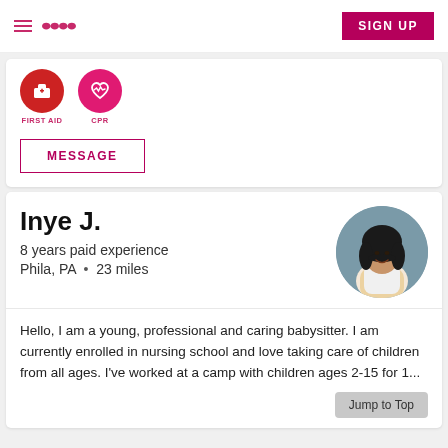SIGN UP
[Figure (illustration): First Aid badge icon - red circle with white first aid kit symbol, labeled FIRST AID]
[Figure (illustration): CPR badge icon - pink circle with white heart-rate/EKG heart symbol, labeled CPR]
MESSAGE
Inye J.
8 years paid experience
Phila, PA  •  23 miles
[Figure (photo): Circular profile photo of a young woman with long curly dark hair, wearing a white top and beige cardigan, smiling, against a gray-blue background]
Hello, I am a young, professional and caring babysitter. I am currently enrolled in nursing school and love taking care of children from all ages. I've worked at a camp with children ages 2-15 for 1...